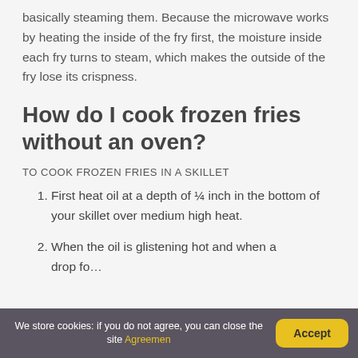basically steaming them. Because the microwave works by heating the inside of the fry first, the moisture inside each fry turns to steam, which makes the outside of the fry lose its crispness.
How do I cook frozen fries without an oven?
TO COOK FROZEN FRIES IN A SKILLET
First heat oil at a depth of ¼ inch in the bottom of your skillet over medium high heat.
When the oil is glistening hot and when a drop of water spatters loudly...
We store cookies: if you do not agree, you can close the site Agreemen
Accept